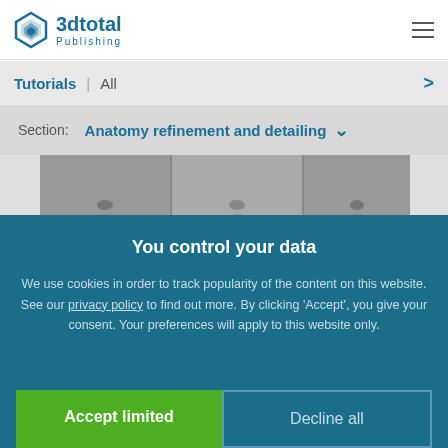3dtotal Publishing
Tutorials | All
Section: Anatomy refinement and detailing
[Figure (photo): Black and white close-up of human face/head anatomy reference images shown in a strip]
You control your data
We use cookies in order to track popularity of the content on this website. See our privacy policy to find out more. By clicking 'Accept', you give your consent. Your preferences will apply to this website only.
Accept limited
Decline all